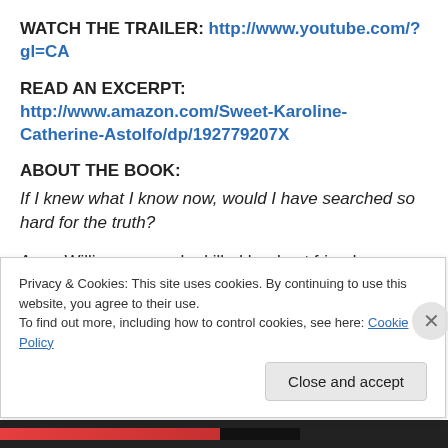WATCH THE TRAILER: http://www.youtube.com/?gl=CA
READ AN EXCERPT: http://www.amazon.com/Sweet-Karoline-Catherine-Astolfo/dp/192779207X
ABOUT THE BOOK:
If I knew what I know now, would I have searched so hard for the truth?
Anne Williams says she killed her best friend, Karoline. But did she? Or is there more to Karoline's mysterious
Privacy & Cookies: This site uses cookies. By continuing to use this website, you agree to their use. To find out more, including how to control cookies, see here: Cookie Policy
Close and accept